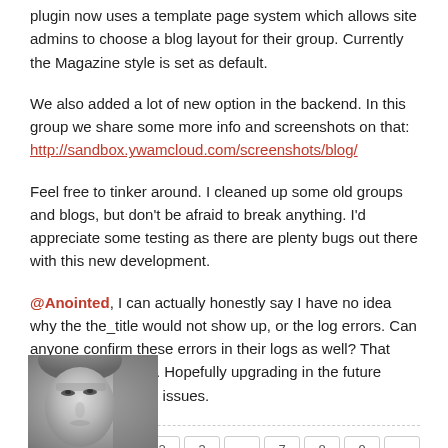plugin now uses a template page system which allows site admins to choose a blog layout for their group. Currently the Magazine style is set as default.
We also added a lot of new option in the backend. In this group we share some more info and screenshots on that: http://sandbox.ywamcloud.com/screenshots/blog/
Feel free to tinker around. I cleaned up some old groups and blogs, but don't be afraid to break anything. I'd appreciate some testing as there are plenty bugs out there with this new development.
@Anointed, I can actually honestly say I have no idea why the the_title would not show up, or the log errors. Can anyone confirm these errors in their logs as well? That would help localize. Hopefully upgrading in the future could help fix those issues.
[Figure (photo): Black and white close-up photo of a person's face, showing eyes and forehead area]